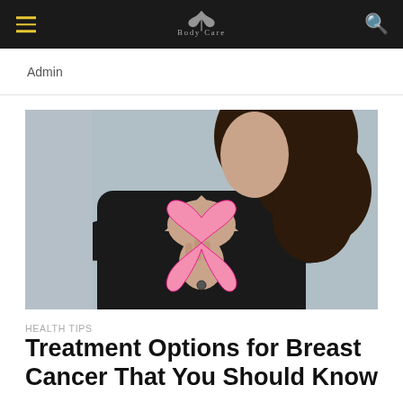≡  [logo]  🔍
Admin
[Figure (photo): Woman in black shirt holding a pink breast cancer awareness ribbon against her chest]
HEALTH TIPS
Treatment Options for Breast Cancer That You Should Know